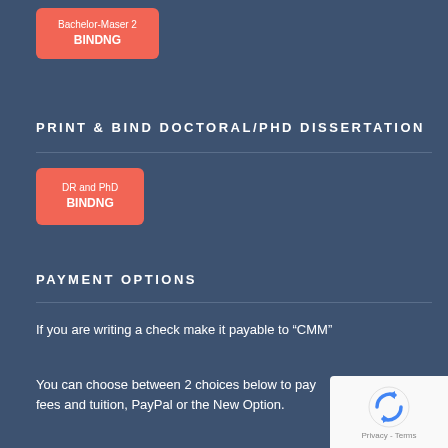[Figure (other): Orange/red rounded button badge with text 'Bachelor-Maser 2' on top line and 'BINDNG' bold on second line]
PRINT & BIND DOCTORAL/PHD DISSERTATION
[Figure (other): Orange/red rounded button badge with text 'DR and PhD' on top line and 'BINDNG' bold on second line]
PAYMENT OPTIONS
If you are writing a check make it payable to “CMM”
You can choose between 2 choices below to pay fees and tuition, PayPal or the New Option.
[Figure (logo): reCAPTCHA logo with Privacy - Terms text]